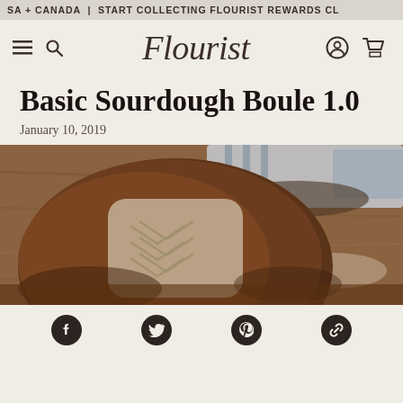SA + CANADA | START COLLECTING FLOURIST REWARDS CL
[Figure (logo): Flourist website navigation bar with hamburger menu, search icon, Flourist script logo, account icon and cart icon]
Basic Sourdough Boule 1.0
January 10, 2019
[Figure (photo): A sourdough boule bread loaf with decorative scoring pattern on a wooden cutting board, with a blue and white striped kitchen towel and bowl in the background]
Social share icons: Facebook, Twitter, Pinterest, Link